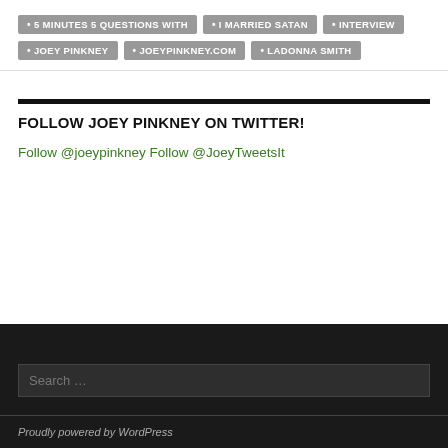5 MINUTES 5 QUESTIONS WITH
I MARRIED SATAN
INTERVIEW
JOEY PINKNEY
JOEYPINKNEY.COM
LADONNA SMITH
FOLLOW JOEY PINKNEY ON TWITTER!
Follow @joeypinkney Follow @JoeyTweetsIt
Search ...
Proudly powered by WordPress